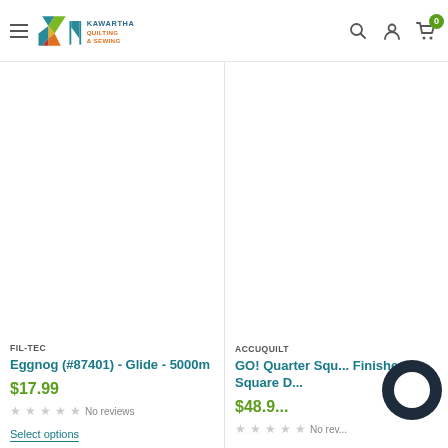Kawartha Quilting & Sewing
FIL-TEC
Eggnog (#87401) - Glide - 5000m
$17.99
No reviews
ACCUQUILT
GO! Quarter Squ... Finished Square D...
$48.9...
No rev...